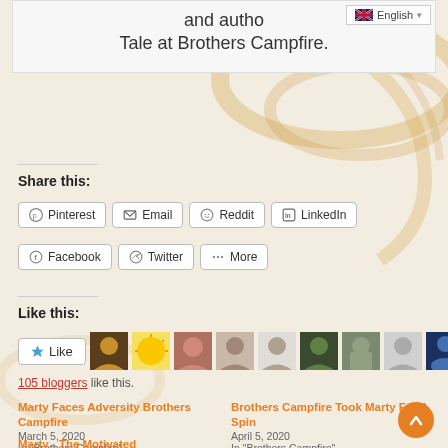and autho... Tale at Brothers Campfire.
English
Share this:
Pinterest  Email  Reddit  LinkedIn  Facebook  Twitter  More
Like this:
105 bloggers like this.
Marty Faces Adversity Brothers Campfire
March 5, 2020
In "Brothers Campfire"
Brothers Campfire Took Marty For A Spin
April 5, 2020
In "Brothers Campfire"
Marty - The Motivated